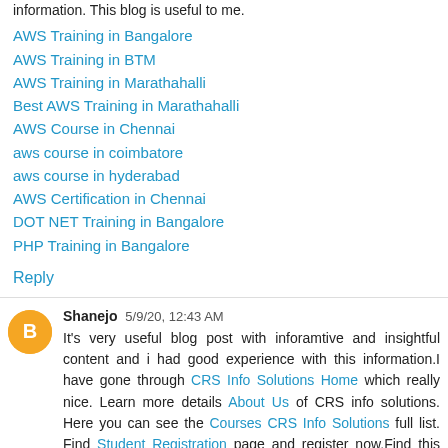information. This blog is useful to me.
AWS Training in Bangalore
AWS Training in BTM
AWS Training in Marathahalli
Best AWS Training in Marathahalli
AWS Course in Chennai
aws course in coimbatore
aws course in hyderabad
AWS Certification in Chennai
DOT NET Training in Bangalore
PHP Training in Bangalore
Reply
Shanejo  5/9/20, 12:43 AM
It's very useful blog post with inforamtive and insightful content and i had good experience with this information.I have gone through CRS Info Solutions Home which really nice. Learn more details About Us of CRS info solutions. Here you can see the Courses CRS Info Solutions full list. Find Student Registration page and register now.Find this real time DevOps Training and great teaching. Join now on